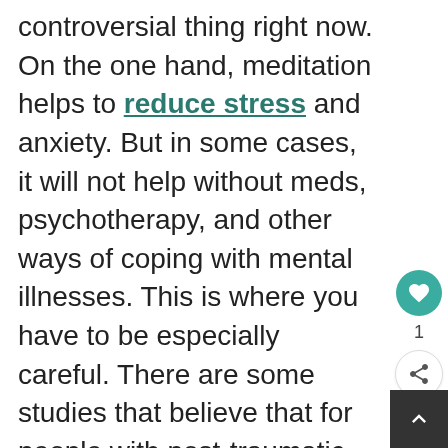controversial thing right now. On the one hand, meditation helps to reduce stress and anxiety. But in some cases, it will not help without meds, psychotherapy, and other ways of coping with mental illnesses. This is where you have to be especially careful. There are some studies that believe that for people with post-traumatic stress syndrome, for example, meditation without professional supervision can even be harmful. It can cause reliving unprocessed trauma, re-traumatization, and worsening the condition.